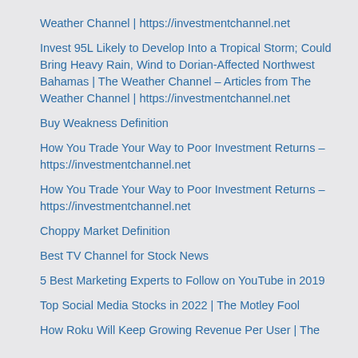Weather Channel | https://investmentchannel.net
Invest 95L Likely to Develop Into a Tropical Storm; Could Bring Heavy Rain, Wind to Dorian-Affected Northwest Bahamas | The Weather Channel – Articles from The Weather Channel | https://investmentchannel.net
Buy Weakness Definition
How You Trade Your Way to Poor Investment Returns – https://investmentchannel.net
How You Trade Your Way to Poor Investment Returns – https://investmentchannel.net
Choppy Market Definition
Best TV Channel for Stock News
5 Best Marketing Experts to Follow on YouTube in 2019
Top Social Media Stocks in 2022 | The Motley Fool
How Roku Will Keep Growing Revenue Per User | The